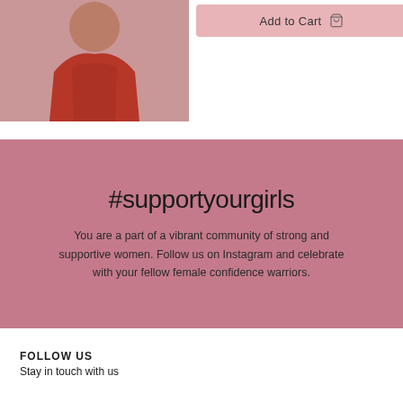[Figure (photo): Woman wearing a red lace bodysuit, cropped product photo showing torso]
Add to Cart
#supportyourgirls
You are a part of a vibrant community of strong and supportive women. Follow us on Instagram and celebrate with your fellow female confidence warriors.
FOLLOW US
Stay in touch with us